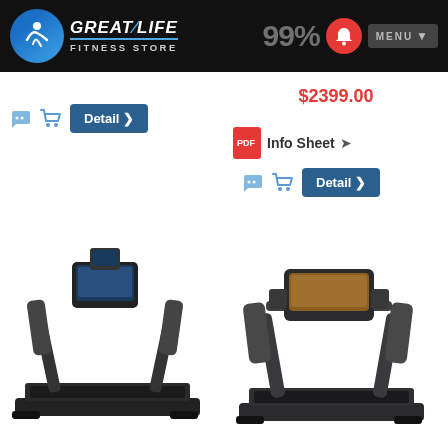GREAT LIFE FITNESS STORE — 99% MENU
$2399.00
[Figure (screenshot): Detail button with right arrow (left product)]
[Figure (screenshot): PDF Info Sheet link with arrow icon]
[Figure (screenshot): Detail button with right arrow (right product)]
[Figure (photo): Black treadmill with touchscreen console, left side]
[Figure (photo): Dark grey treadmill with monitor console, right side]